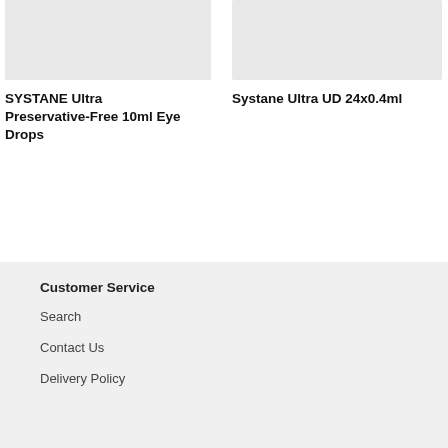[Figure (photo): Product image placeholder for SYSTANE Ultra Preservative-Free 10ml Eye Drops]
[Figure (photo): Product image placeholder for Systane Ultra UD 24x0.4ml]
SYSTANE Ultra Preservative-Free 10ml Eye Drops
Systane Ultra UD 24x0.4ml
Customer Service
Search
Contact Us
Delivery Policy